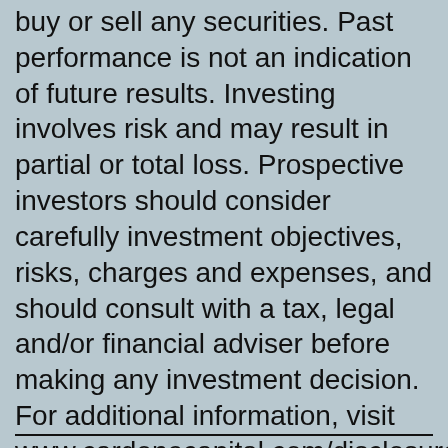buy or sell any securities. Past performance is not an indication of future results. Investing involves risk and may result in partial or total loss. Prospective investors should consider carefully investment objectives, risks, charges and expenses, and should consult with a tax, legal and/or financial adviser before making any investment decision. For additional information, visit www.cardonecapital.com/disclosures.
—